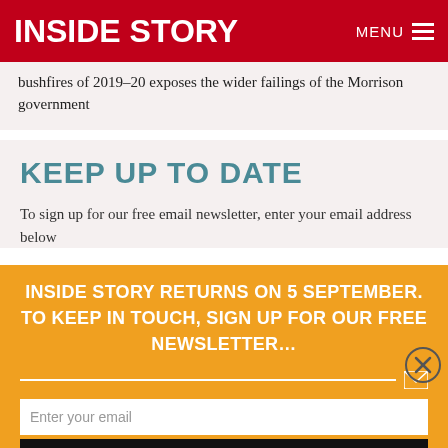INSIDE STORY
bushfires of 2019–20 exposes the wider failings of the Morrison government
KEEP UP TO DATE
To sign up for our free email newsletter, enter your email address below
INSIDE STORY RETURNS ON 5 SEPTEMBER. TO KEEP IN TOUCH, SIGN UP FOR OUR FREE NEWSLETTER…